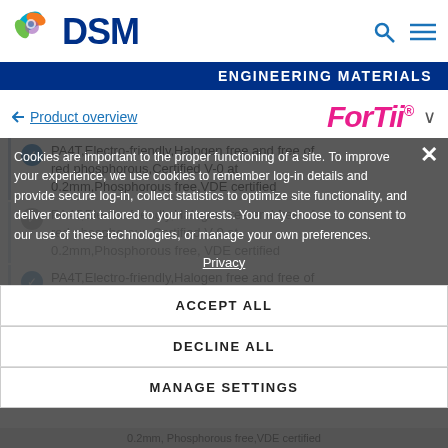[Figure (logo): DSM company logo with colorful swirl and DSM text in navy blue]
ENGINEERING MATERIALS
← Product overview    ForTii®  ∨
PA4T,Electro-friendly,Halogen free and free of red phosphorous,Certified V-0 at 0.2mm,Phosphorous free,VDE certified
PA4T,Electro-friendly,Halogen free and free of red phosphorous,Certified V-0 at 0.2mm,Phosphorous free,VDE certified
PA4T,Electro-friendly,Halogen free and free of red phosphorous,Certified V-0 at
Cookies are important to the proper functioning of a site. To improve your experience, we use cookies to remember log-in details and provide secure log-in, collect statistics to optimize site functionality, and deliver content tailored to your interests. You may choose to consent to our use of these technologies, or manage your own preferences.
Privacy
ACCEPT ALL
DECLINE ALL
MANAGE SETTINGS
0.2mm, Phosphorous free,VDE certified